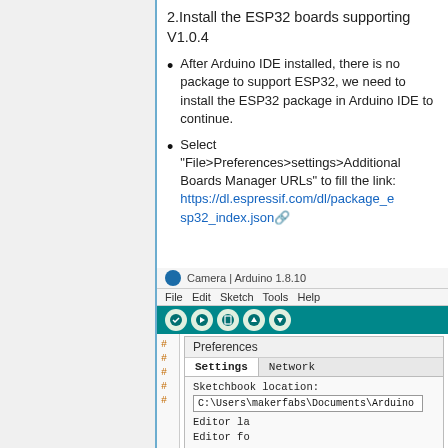2. Install the ESP32 boards supporting V1.0.4
After Arduino IDE installed, there is no package to support ESP32, we need to install the ESP32 package in Arduino IDE to continue.
Select “File>Preferences>settings>Additional Boards Manager URLs” to fill the link: https://dl.espressif.com/dl/package_esp32_index.json
[Figure (screenshot): Arduino IDE 1.8.10 Preferences dialog showing Settings and Network tabs, Sketchbook location field with C:\Users\makerfabs\Documents\Arduino, and a popup for Additional Boards Manager URLs]